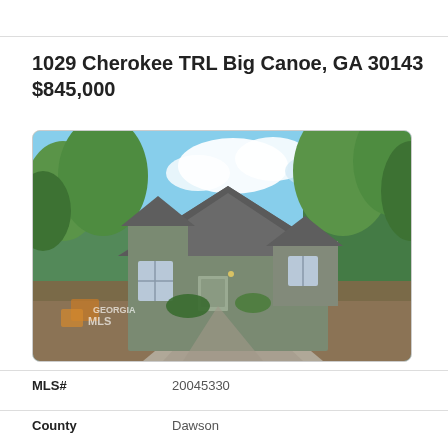1029 Cherokee TRL Big Canoe, GA 30143
$845,000
[Figure (photo): Exterior photo of a gray craftsman-style house with a steep gabled roof, surrounded by green trees, with a paved driveway. Georgia MLS watermark visible.]
MLS#   20045330
County   Dawson